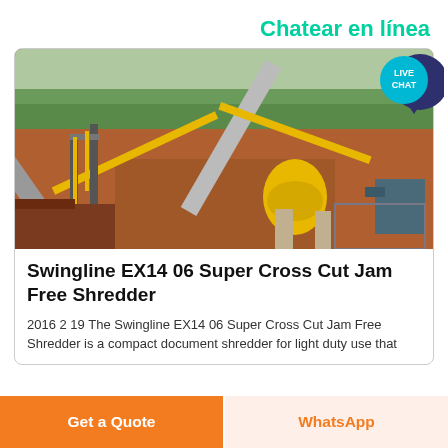Chatear en línea
[Figure (photo): Aerial view of a large industrial mining/crushing plant with yellow conveyor belts, a cone crusher, and heavy machinery on red-earth terrain with trees in the background.]
Swingline EX14 06 Super Cross Cut Jam Free Shredder
2016 2 19 The Swingline EX14 06 Super Cross Cut Jam Free Shredder is a compact document shredder for light duty use that